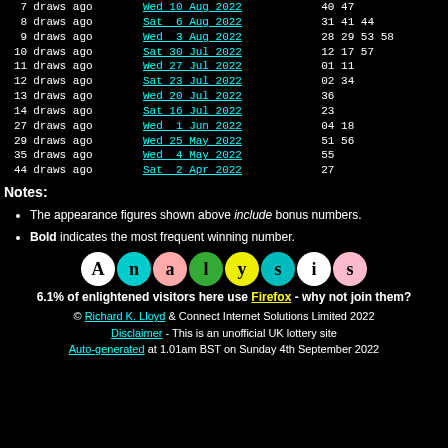| draws ago | date | numbers |
| --- | --- | --- |
| 7 draws ago | Wed 10 Aug 2022 | 40 47 |
| 8 draws ago | Sat  6 Aug 2022 | 31 41 44 |
| 9 draws ago | Wed  3 Aug 2022 | 28 29 53 58 |
| 10 draws ago | Sat 30 Jul 2022 | 12 17 57 |
| 11 draws ago | Wed 27 Jul 2022 | 01 11 |
| 12 draws ago | Sat 23 Jul 2022 | 02 34 |
| 13 draws ago | Wed 20 Jul 2022 | 36 |
| 14 draws ago | Sat 16 Jul 2022 | 23 |
| 27 draws ago | Wed  1 Jun 2022 | 04 18 |
| 29 draws ago | Wed 25 May 2022 | 51 56 |
| 35 draws ago | Wed  4 May 2022 | 55 |
| 44 draws ago | Sat  2 Apr 2022 | 27 |
Notes:
The appearance figures shown above include bonus numbers.
Bold indicates the most frequent winning number.
[Figure (logo): Analysis logo with coloured circles spelling out 'Analysis']
6.1% of enlightened visitors here use Firefox - why not join them?
© Richard K. Lloyd & Connect Internet Solutions Limited 2022 Disclaimer - This is an unofficial UK lottery site Auto-generated at 1.01am BST on Sunday 4th September 2022